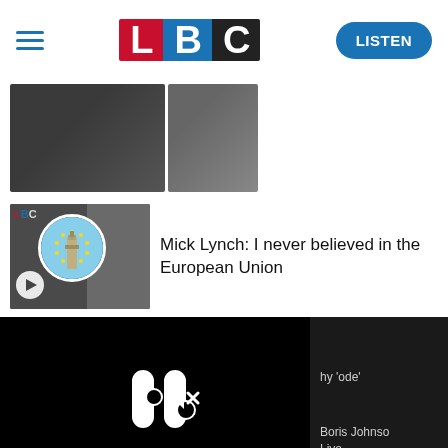[Figure (logo): LBC radio logo with red L, blue B, black C blocks, hamburger menu icon, and LISTEN button]
[Figure (photo): Two small news thumbnail images side by side]
[Figure (photo): Article thumbnail with LBC branding, EU flag circle overlay, and play button]
Mick Lynch: I never believed in the European Union
[Figure (screenshot): Video player area (black background) with pause icon and mute icon, sidebar showing 'hy ode' and 'Boris Johnson Live ...' text, and a progress bar at the bottom]